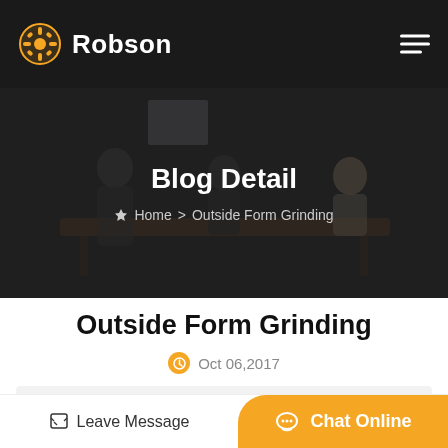Robson
[Figure (screenshot): Hero banner with darkened background showing people in a meeting room, with overlaid title 'Blog Detail' and breadcrumb 'Home > Outside Form Grinding']
Outside Form Grinding
Oct 06,2017
At advanced grinding and machine, grinding is our specialty